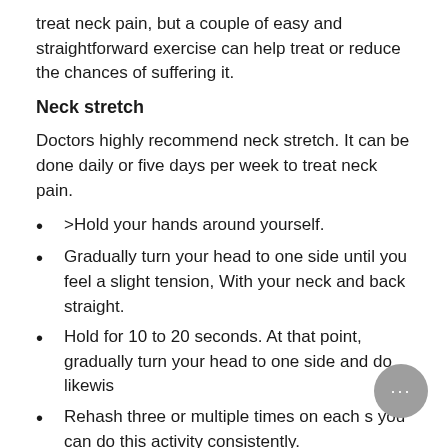treat neck pain, but a couple of easy and straightforward exercise can help treat or reduce the chances of suffering it.
Neck stretch
Doctors highly recommend neck stretch. It can be done daily or five days per week to treat neck pain.
>Hold your hands around yourself.
Gradually turn your head to one side until you feel a slight tension, With your neck and back straight.
Hold for 10 to 20 seconds. At that point, gradually turn your head to one side and do likewis…
Rehash three or multiple times on each s… you can do this activity consistently.